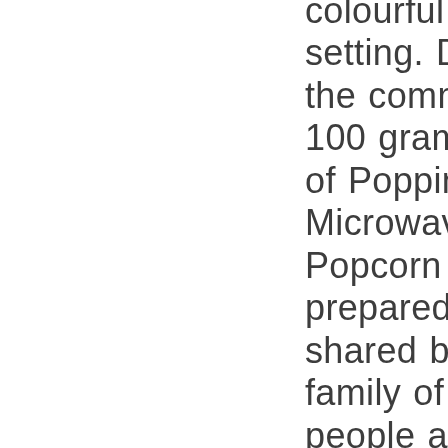colourful home setting. During the commercial a 100 gram serving of Poppin Microwave Popcorn is prepared to be shared by the family of four people and whilst the mum keeps an eye on the popcorn in the microwave we see the dad and children 'popping' on the sofa in the lounge room. At the end of the advertisement